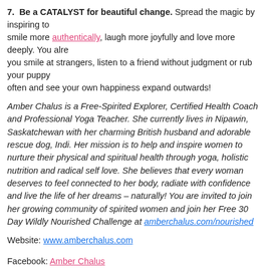7. Be a CATALYST for beautiful change. Spread the magic by inspiring to smile more authentically, laugh more joyfully and love more deeply. You already you smile at strangers, listen to a friend without judgment or rub your puppy often and see your own happiness expand outwards!
Amber Chalus is a Free-Spirited Explorer, Certified Health Coach and Professional Yoga Teacher. She currently lives in Nipawin, Saskatchewan with her charming British husband and adorable rescue dog, Indi. Her mission is to help and inspire women to nurture their physical and spiritual health through yoga, holistic nutrition and radical self love. She believes that every woman deserves to feel connected to her body, radiate with confidence and live the life of her dreams – naturally! You are invited to join her growing community of spirited women and join her Free 30 Day Wildly Nourished Challenge at amberchalus.com/nourished
Website: www.amberchalus.com
Facebook: Amber Chalus
Twitter: @amberchalus
Tags: